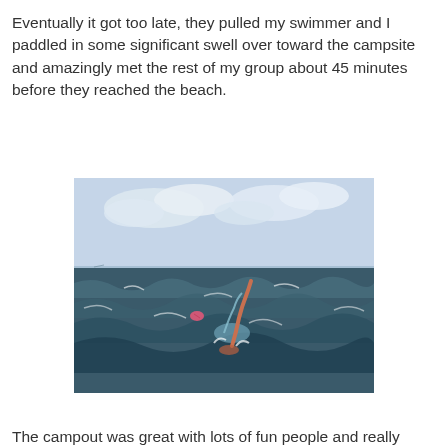Eventually it got too late, they pulled my swimmer and I paddled in some significant swell over toward the campsite and amazingly met the rest of my group about 45 minutes before they reached the beach.
[Figure (photo): A swimmer in open water with choppy waves, an arm raised out of the water mid-stroke, with a pink buoy visible in the background and cloudy sky above.]
The campout was great with lots of fun people and really